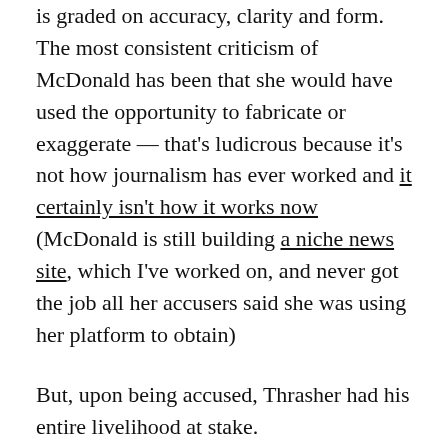is graded on accuracy, clarity and form. The most consistent criticism of McDonald has been that she would have used the opportunity to fabricate or exaggerate — that's ludicrous because it's not how journalism has ever worked and it certainly isn't how it works now (McDonald is still building a niche news site, which I've worked on, and never got the job all her accusers said she was using her platform to obtain)
But, upon being accused, Thrasher had his entire livelihood at stake.
He thought he was riding with a friend — a native from the Northeast Philadelphia he called home. Someone young and hardly grizzled or intimidating in appearance.
He said something stupid and ignorant — nothing